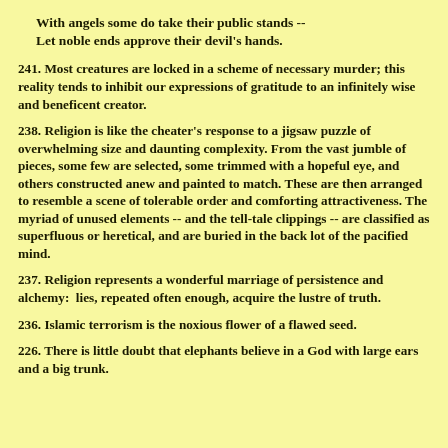With angels some do take their public stands --
Let noble ends approve their devil's hands.
241. Most creatures are locked in a scheme of necessary murder; this reality tends to inhibit our expressions of gratitude to an infinitely wise and beneficent creator.
238. Religion is like the cheater's response to a jigsaw puzzle of overwhelming size and daunting complexity. From the vast jumble of pieces, some few are selected, some trimmed with a hopeful eye, and others constructed anew and painted to match. These are then arranged to resemble a scene of tolerable order and comforting attractiveness. The myriad of unused elements -- and the tell-tale clippings -- are classified as superfluous or heretical, and are buried in the back lot of the pacified mind.
237. Religion represents a wonderful marriage of persistence and alchemy:  lies, repeated often enough, acquire the lustre of truth.
236. Islamic terrorism is the noxious flower of a flawed seed.
226. There is little doubt that elephants believe in a God with large ears and a big trunk.